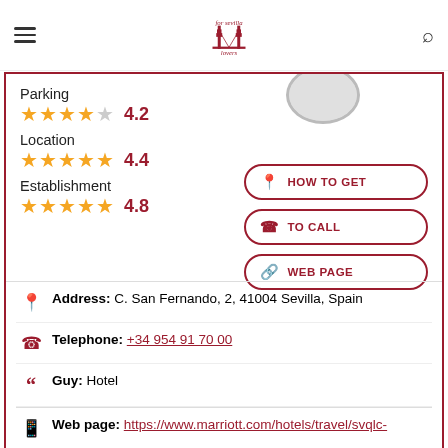for sevilla lovers - navigation header
Parking
★★★★☆ 4.2
Location
★★★★½ 4.4
Establishment
★★★★★ 4.8
HOW TO GET
TO CALL
WEB PAGE
Address: C. San Fernando, 2, 41004 Sevilla, Spain
Telephone: +34 954 91 70 00
Guy: Hotel
Web page: https://www.marriott.com/hotels/travel/svqlc-